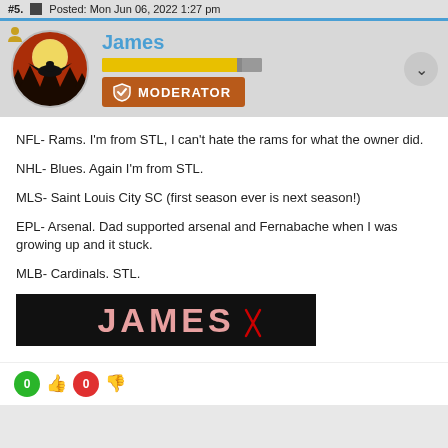#5. Posted: Mon Jun 06, 2022 1:27 pm
[Figure (illustration): Forum user panel showing avatar (circular fantasy landscape with dragon and moon), username James in teal, XP progress bar in yellow, and a brown MODERATOR badge with shield icon. A chevron down button is on the right.]
NFL- Rams. I'm from STL, I can't hate the rams for what the owner did.

NHL- Blues. Again I'm from STL.

MLS- Saint Louis City SC (first season ever is next season!)

EPL- Arsenal. Dad supported arsenal and Fernabache when I was growing up and it stuck.

MLB- Cardinals. STL.
[Figure (illustration): Black banner signature image with the text JAMES in large pink/salmon letters with a red ribbon accent]
0 👍 0 👎